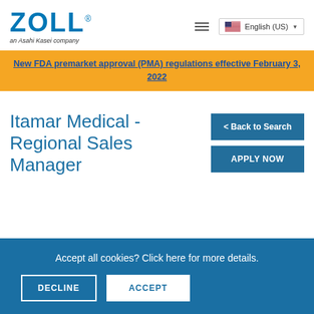ZOLL - an Asahi Kasei company | English (US)
New FDA premarket approval (PMA) regulations effective February 3, 2022
Itamar Medical - Regional Sales Manager
< Back to Search
APPLY NOW
Accept all cookies? Click here for more details.
DECLINE
ACCEPT